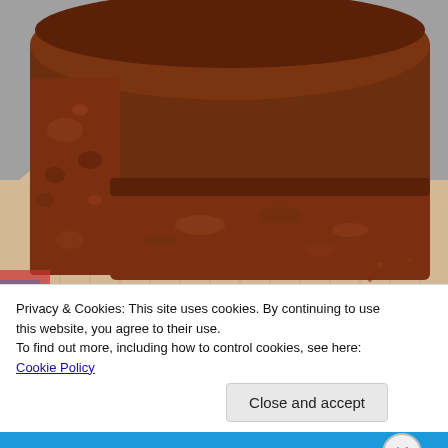[Figure (photo): A sliced dark chocolate or gingerbread loaf on a wooden cutting board. The loaf is cut with one slice laid in front, showing dense dark brown crumb interior. The background is a gray surface.]
Privacy & Cookies: This site uses cookies. By continuing to use this website, you agree to their use.
To find out more, including how to control cookies, see here: Cookie Policy
Close and accept